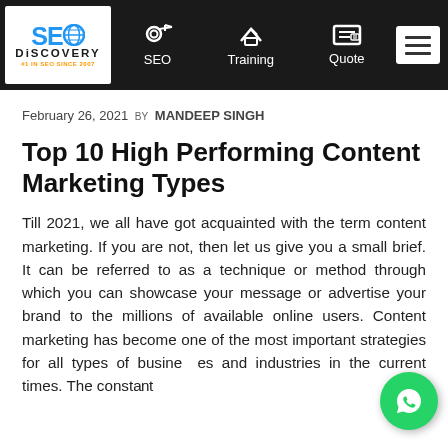SEO Discovery — Navigation: SEO, Training, Quote
February 26, 2021 BY MANDEEP SINGH
Top 10 High Performing Content Marketing Types
Till 2021, we all have got acquainted with the term content marketing. If you are not, then let us give you a small brief. It can be referred to as a technique or method through which you can showcase your message or advertise your brand to the millions of available online users. Content marketing has become one of the most important strategies for all types of businesses and industries in the current times. The constant